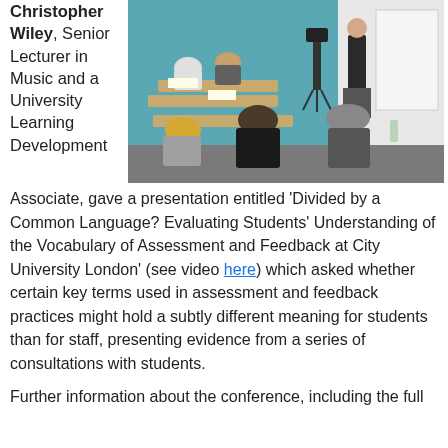Christopher Wiley, Senior Lecturer in Music and a University Learning Development Associate, gave a presentation entitled 'Divided by a Common Language? Evaluating Students' Understanding of the Vocabulary of Assessment and Feedback at City University London' (see video here) which asked whether certain key terms used in assessment and feedback practices might hold a subtly different meaning for students than for staff, presenting evidence from a series of consultations with students.
[Figure (photo): A classroom or seminar room scene with a presenter standing at the front near a podium, speaking to a seated audience of about 8-10 people. The room has a teal/turquoise wall and white walls, with desks and blue chairs.]
Further information about the conference, including the full programme and abstracts, can be found at: www.city.ac.uk/...